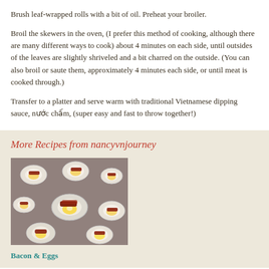Brush leaf-wrapped rolls with a bit of oil. Preheat your broiler.
Broil the skewers in the oven, (I prefer this method of cooking, although there are many different ways to cook) about 4 minutes on each side, until outsides of the leaves are slightly shriveled and a bit charred on the outside. (You can also broil or saute them, approximately 4 minutes each side, or until meat is cooked through.)
Transfer to a platter and serve warm with traditional Vietnamese dipping sauce, nước chấm, (super easy and fast to throw together!)
More Recipes from nancyvnjourney
[Figure (photo): Photo of small white plates each topped with a sausage and fried egg, arranged on a surface — representing a Bacon & Eggs recipe.]
Bacon & Eggs